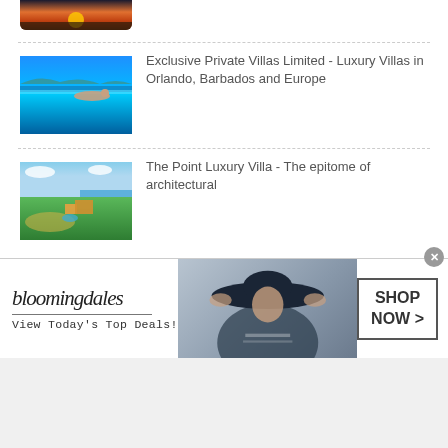[Figure (photo): Partial view of a sunset/pool photo at the top, cropped]
[Figure (photo): Woman reclining by an infinity pool with blue water and ocean/sky in background]
Exclusive Private Villas Limited - Luxury Villas in Orlando, Barbados and Europe
[Figure (photo): Aerial view of a luxury coastal villa property surrounded by lush greenery and ocean]
The Point Luxury Villa - The epitome of architectural
[Figure (advertisement): Bloomingdale's ad banner: logo, 'View Today's Top Deals!', woman with wide-brim hat, 'SHOP NOW >' button]